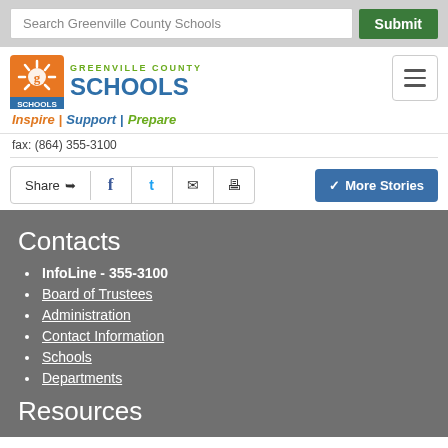[Figure (screenshot): Greenville County Schools website header with search bar, logo (sun icon with 'g', Greenville County Schools text, Inspire | Support | Prepare tagline), and hamburger menu button]
fax: (864) 355-3100
Share
More Stories
Contacts
InfoLine - 355-3100
Board of Trustees
Administration
Contact Information
Schools
Departments
Resources